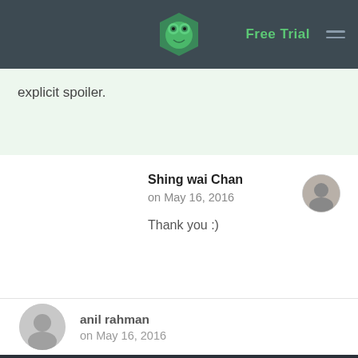Free Trial
explicit spoiler.
Shing wai Chan
on May 16, 2016

Thank you :)
anil rahman
on May 16, 2016
[Figure (screenshot): Dark code editor showing C# class: namespace Treehouse.CodeChallenges { class Frog { public readonly int TongueLength; public readonly int ReactionTime;]